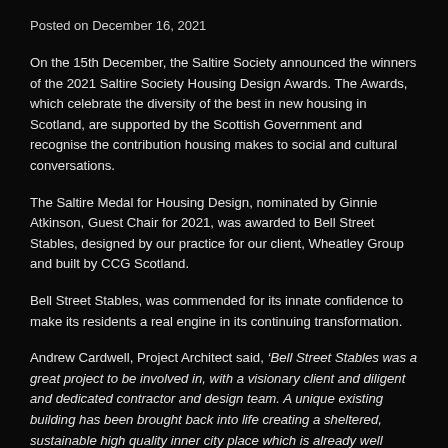Posted on December 16, 2021
On the 15th December, the Saltire Society announced the winners of the 2021 Saltire Society Housing Design Awards. The Awards, which celebrate the diversity of the best in new housing in Scotland, are supported by the Scottish Government and recognise the contribution housing makes to social and cultural conversations.
The Saltire Medal for Housing Design, nominated by Ginnie Atkinson, Guest Chair for 2021, was awarded to Bell Street Stables, designed by our practice for our client, Wheatley Group and built by CCG Scotland.
Bell Street Stables, was commended for its innate confidence to make its residents a real engine in its continuing transformation.
Andrew Cardwell, Project Architect said,  ‘Bell Street Stables was a great project to be involved in, with a visionary client and diligent and dedicated contractor and design team. A unique existing building has been brought back into life creating a sheltered, sustainable high quality inner city place which is already well